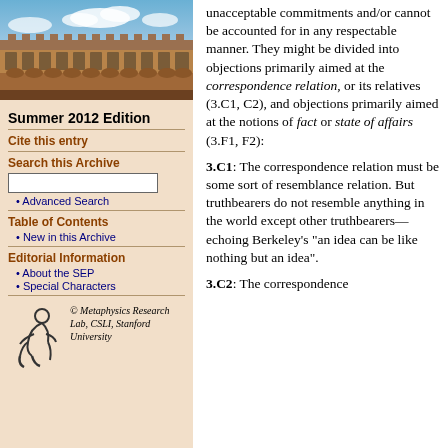[Figure (photo): Photograph of a stone university building (likely Stanford or Oxford) with blue sky and clouds]
Summer 2012 Edition
Cite this entry
Search this Archive
Advanced Search
Table of Contents
New in this Archive
Editorial Information
About the SEP
Special Characters
[Figure (logo): Metaphysics Research Lab logo with stylized figure and copyright notice]
unacceptable commitments and/or cannot be accounted for in any respectable manner. They might be divided into objections primarily aimed at the correspondence relation, or its relatives (3.C1, C2), and objections primarily aimed at the notions of fact or state of affairs (3.F1, F2):
3.C1: The correspondence relation must be some sort of resemblance relation. But truthbearers do not resemble anything in the world except other truthbearers—echoing Berkeley's “an idea can be like nothing but an idea”.
3.C2: The correspondence